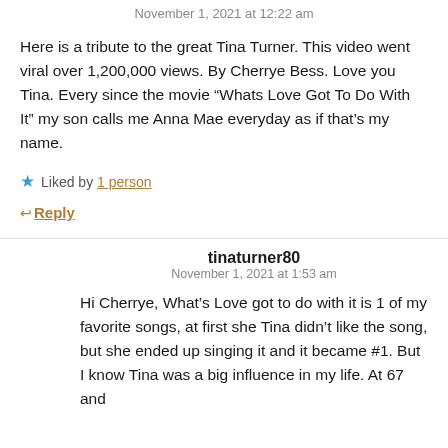November 1, 2021 at 12:22 am
Here is a tribute to the great Tina Turner. This video went viral over 1,200,000 views. By Cherrye Bess. Love you Tina. Every since the movie “Whats Love Got To Do With It” my son calls me Anna Mae everyday as if that’s my name.
★ Liked by 1 person
↩ Reply
tinaturner80
November 1, 2021 at 1:53 am
Hi Cherrye, What’s Love got to do with it is 1 of my favorite songs, at first she Tina didn’t like the song, but she ended up singing it and it became #1. But I know Tina was a big influence in my life. At 67 and